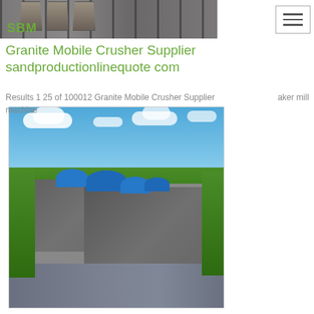[Figure (photo): SBM branded industrial crusher equipment header image with gray metal bucket/crusher components and green SBM logo text]
[Figure (other): Navigation hamburger menu button with three horizontal lines]
Granite Mobile Crusher Supplier sandproductionlinequote com
Results 1 25 of 100012 Granite Mobile Crusher Supplier … aker mill machine
[Figure (photo): Aerial view of large industrial mining/crushing facility with blue dome-roofed structures, large grey roofed factory buildings, surrounded by green forest and open land under blue sky with clouds]